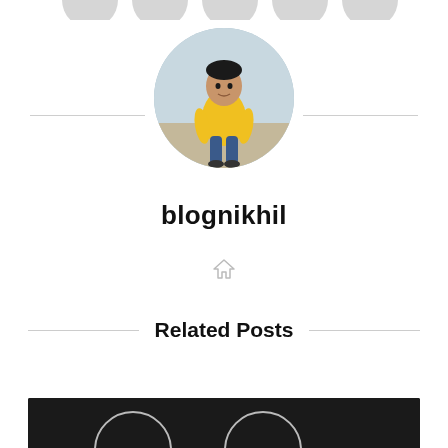[Figure (photo): Partial social icon circles at the top, cut off by page edge]
[Figure (photo): Circular profile photo of a person wearing a yellow sweatshirt and jeans, standing outdoors]
blognikhil
[Figure (illustration): Small grey home/house icon]
Related Posts
[Figure (photo): Bottom strip of a dark/black image with partial white circle outlines visible]